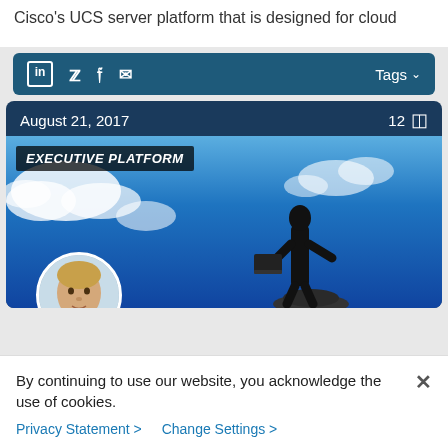Cisco's UCS server platform that is designed for cloud
LinkedIn Twitter Facebook Email | Tags
August 21, 2017   12 comments
[Figure (photo): Article card with 'EXECUTIVE PLATFORM' badge, blue sky with clouds background, person silhouette holding laptop, and author avatar circle portrait]
By continuing to use our website, you acknowledge the use of cookies.
Privacy Statement >
Change Settings >